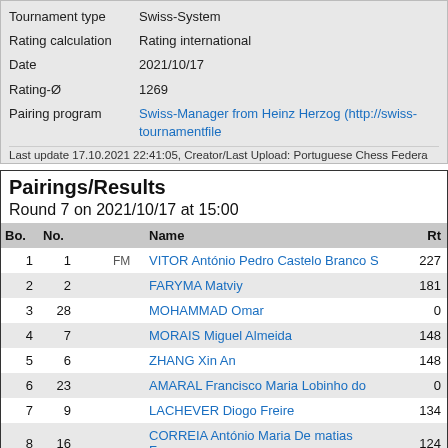| Field | Value |
| --- | --- |
| Tournament type | Swiss-System |
| Rating calculation | Rating international |
| Date | 2021/10/17 |
| Rating-Ø | 1269 |
| Pairing program | Swiss-Manager from Heinz Herzog (http://swiss-... tournamentfile |
Last update 17.10.2021 22:41:05, Creator/Last Upload: Portuguese Chess Federa...
Pairings/Results
Round 7 on 2021/10/17 at 15:00
| Bo. | No. |  |  | Name | Rtg |
| --- | --- | --- | --- | --- | --- |
| 1 | 1 |  | FM | VITOR António Pedro Castelo Branco S | 227 |
| 2 | 2 |  |  | FARYMA Matviy | 181 |
| 3 | 28 |  |  | MOHAMMAD Omar | 0 |
| 4 | 7 |  |  | MORAIS Miguel Almeida | 148 |
| 5 | 6 |  |  | ZHANG Xin An | 148 |
| 6 | 23 |  |  | AMARAL Francisco Maria Lobinho do | 0 |
| 7 | 9 |  |  | LACHEVER Diogo Freire | 134 |
| 8 | 16 |  |  | CORREIA António Maria De matias Fernan | 124 |
| 9 | 19 |  |  | BICHO Ivan-Pi Virott Da Costa | 111 |
| 10 | 24 |  |  | CARVALHO Afonso Maria Godinho Figueira | 0 |
| 11 | 20 | 🏴󠁧󠁢󠁥󠁮󠁧󠁿 |  | HUGHES John David | 108 |